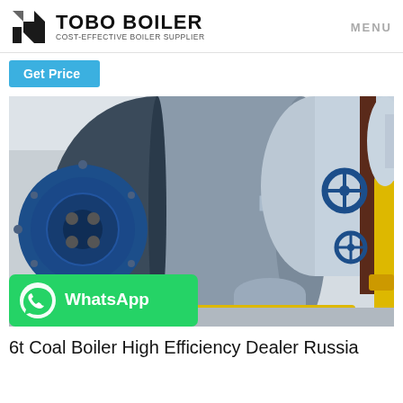TOBO BOILER — COST-EFFECTIVE BOILER SUPPLIER | MENU
Get Price
[Figure (photo): Industrial boiler installation showing large cylindrical boilers in blue and grey, with blue valve wheels, yellow pipes, and ducting in an industrial facility. A WhatsApp button overlay appears at the bottom left.]
6t Coal Boiler High Efficiency Dealer Russia